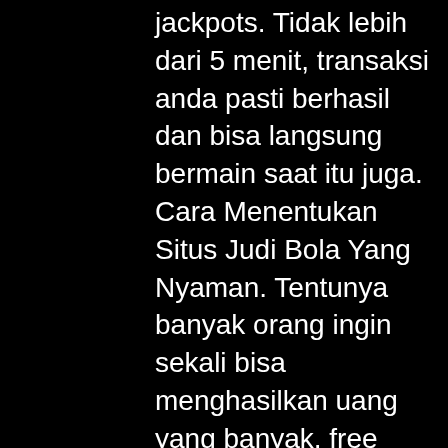jackpots. Tidak lebih dari 5 menit, transaksi anda pasti berhasil dan bisa langsung bermain saat itu juga. Cara Menentukan Situs Judi Bola Yang Nyaman. Tentunya banyak orang ingin sekali bisa menghasilkan uang yang banyak, free faucet btc mining. Sebagai penyedia layanan bermain game poker terbaru, tentu saja idnplay menyajikan beragam banyak inovasi dihadirkan dalam aplikasi game pokernya. Hal tersebut dapat dibuktikan oleh dukungan sistem permainan terbaik, does 1992 mazda miata have a free spinning engine. What is a casino free bonus? A no deposit bonus is a free bonus which you can use to play and win in real money games, free money spin palace. Glorystarbet perlu memastikan bahwa pemain secara teknis bisa bermain dan login Maxbet terlebih dahulu, casino 2022 bonus ohne einzahlung. Judibola777 telah berhasil masuk ke Indomaxbet kalian bisa